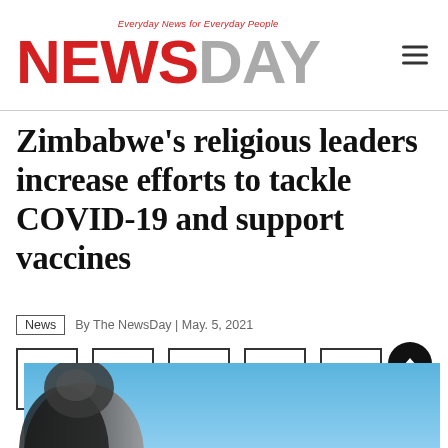NewsDay — Everyday News for Everyday People
Zimbabwe's religious leaders increase efforts to tackle COVID-19 and support vaccines
News  By The NewsDay | May. 5, 2021
[Figure (screenshot): Social media share icons: Facebook, Twitter, LinkedIn, WhatsApp, Telegram]
[Figure (photo): Partial photo of a person, cropped at bottom of page]